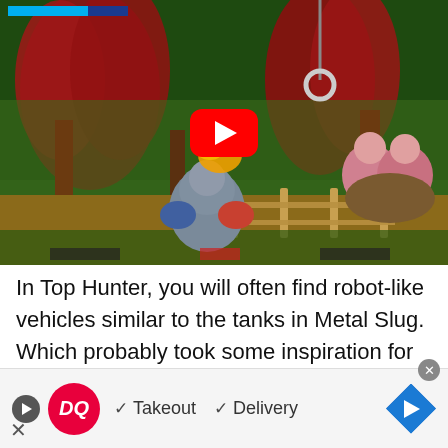[Figure (screenshot): YouTube video thumbnail of a retro side-scrolling video game (Top Hunter), showing a jungle scene with red alien plants, trees, a robot-like character in the center foreground, two pink-clothed characters on the right riding a creature, and a YouTube play button overlay in the center. A blue health/HUD bar is visible at the top left.]
In Top Hunter, you will often find robot-like vehicles similar to the tanks in Metal Slug. Which probably took some inspiration for its character
[Figure (infographic): Advertisement banner for Dairy Queen (DQ) showing the DQ red circular logo, checkmarks for Takeout and Delivery options, a blue diamond-shaped directional arrow icon, a small play button, and an X close button.]